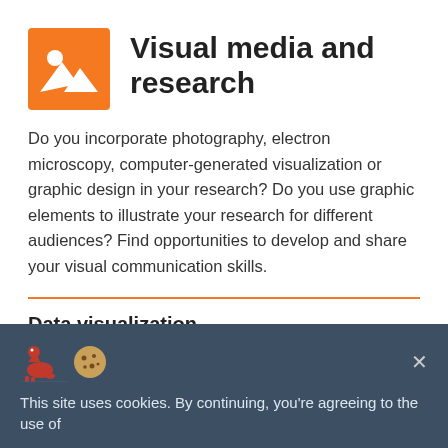[Figure (logo): Orange square icon with white mountain/landscape and sun image]
Visual media and research
Do you incorporate photography, electron microscopy, computer-generated visualization or graphic design in your research? Do you use graphic elements to illustrate your research for different audiences? Find opportunities to develop and share your visual communication skills.
Data visualization
Data visualization may play an important role in your
This site uses cookies. By continuing, you're agreeing to the use of